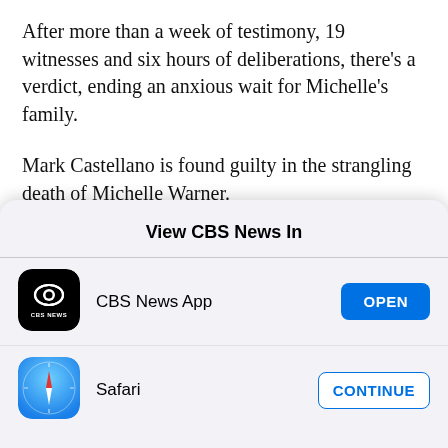After more than a week of testimony, 19 witnesses and six hours of deliberations, there's a verdict, ending an anxious wait for Michelle's family.
Mark Castellano is found guilty in the strangling death of Michelle Warner.
"I was very pleased with the fact that he was declared guilty," Malone said. "I said, 'OK, good. They did this quickly... so I believe that this is in the hands of a
View CBS News In
[Figure (logo): CBS News app icon: black rounded square with CBS eye logo and 'CBS NEWS' text]
CBS News App
[Figure (logo): Safari browser icon: blue compass circle with red and white needle]
Safari